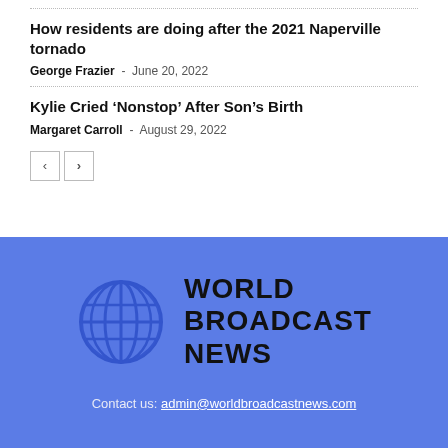How residents are doing after the 2021 Naperville tornado
George Frazier - June 20, 2022
Kylie Cried ‘Nonstop’ After Son’s Birth
Margaret Carroll - August 29, 2022
[Figure (logo): World Broadcast News logo with globe icon]
Contact us: admin@worldbroadcastnews.com